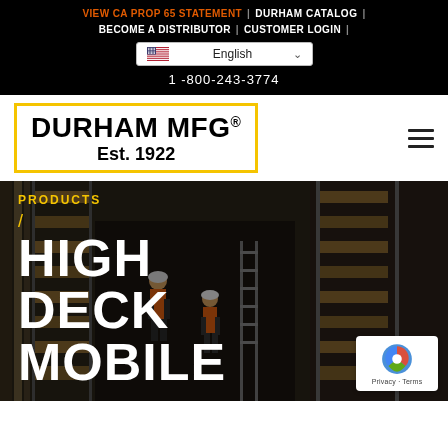VIEW CA PROP 65 STATEMENT | DURHAM CATALOG | BECOME A DISTRIBUTOR | CUSTOMER LOGIN |
English
1 -800-243-3774
DURHAM MFG® Est. 1922
[Figure (screenshot): Warehouse interior with workers in orange safety vests walking between tall shelving racks stacked with wood panels]
PRODUCTS / HIGH DECK MOBILE